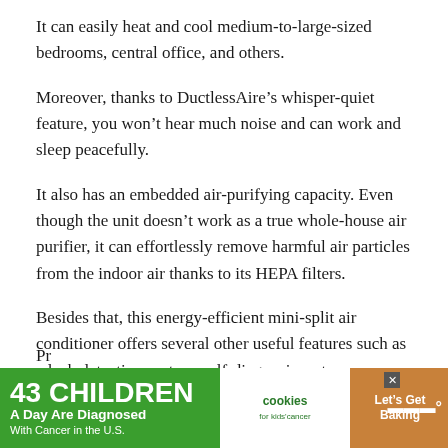It can easily heat and cool medium-to-large-sized bedrooms, central office, and others.
Moreover, thanks to DuctlessAire’s whisper-quiet feature, you won’t hear much noise and can work and sleep peacefully.
It also has an embedded air-purifying capacity. Even though the unit doesn’t work as a true whole-house air purifier, it can effortlessly remove harmful air particles from the indoor air thanks to its HEPA filters.
Besides that, this energy-efficient mini-split air conditioner offers several other useful features such as a leak detection system, self-diagnosis, auto-protection, washable air filters, auto-cleaning, etc. that makes the unit easy-to-manage and enhances its total lifespan.
[Figure (infographic): Advertisement banner: dark background with green section reading '43 CHILDREN A Day Are Diagnosed With Cancer in the U.S.', white cookies for kids cancer logo section, and brown 'Let's Get Baking' section with close and mute icons.]
Pr